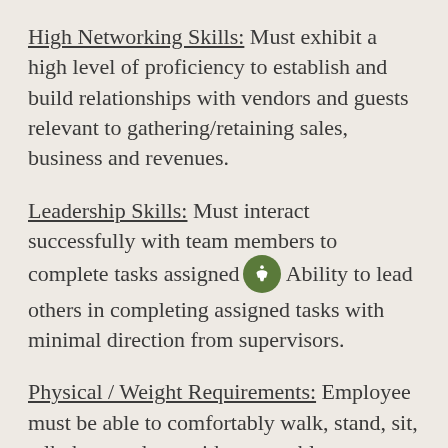High Networking Skills: Must exhibit a high level of proficiency to establish and build relationships with vendors and guests relevant to gathering/retaining sales, business and revenues.
Leadership Skills: Must interact successfully with team members to complete tasks assigned. Ability to lead others in completing assigned tasks with minimal direction from supervisors.
Physical / Weight Requirements: Employee must be able to comfortably walk, stand, sit, talk, hear and see with reasonable accommodation. They will also be required to perform fine motor skill requirements. The employee must occasionally lift and/or move up to 40 pounds with